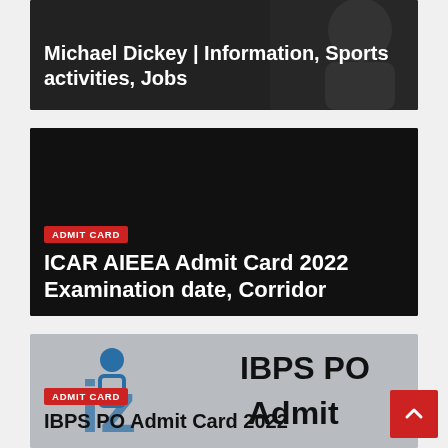[Figure (screenshot): Dark card with white bold text overlay: 'Michael Dickey | Information, Sports activities, Jobs']
Michael Dickey | Information, Sports activities, Jobs
[Figure (screenshot): Black card with ADMIT CARD red badge and white bold title: 'ICAR AIEEA Admit Card 2022 Examination date, Corridor']
ADMIT CARD
ICAR AIEEA Admit Card 2022 Examination date, Corridor
[Figure (screenshot): Gray card with IBPS logo graphic and text 'IBPS PO Admit', ADMIT CARD red badge, and title 'IBPS PO Admit Card 2022']
ADMIT CARD
IBPS PO Admit Card 2022